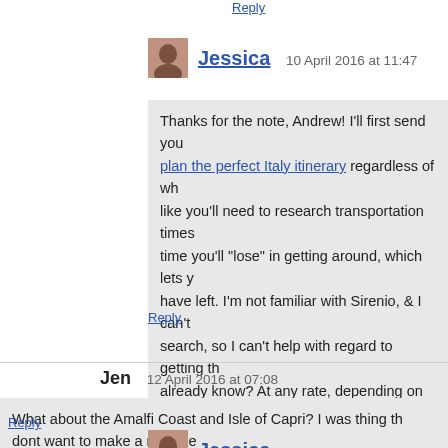Reply
Jessica   10 April 2016 at 11:47
Thanks for the note, Andrew! I'll first send you plan the perfect Italy itinerary regardless of wh... like you'll need to research transportation times... time you'll "lose" in getting around, which lets y... have left. I'm not familiar with Sirenio, & I can't... search, so I can't help with regard to getting th... already know? At any rate, depending on how... visiting family & how long it'll take you to get a... number of days left to play with as far as your... you'll have to cut something, if not a few things... goes – you'll just have to plan another trip! 🙂
Reply
Jen   12 April 2016 at 07:08
What about the Amalfi Coast and Isle of Capri? I was thing th... dont want to make a mistake
Reply
Jessica   12 April 2016 at 10:42